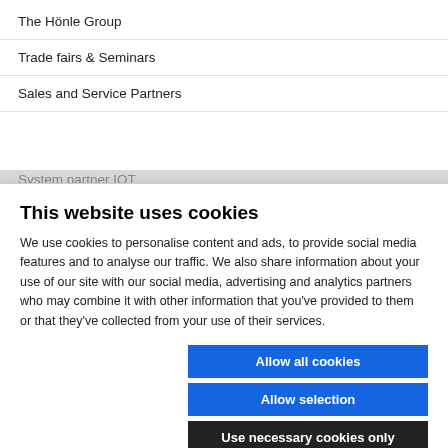The Hönle Group
Trade fairs & Seminars
Sales and Service Partners
System partner IOT
This website uses cookies
We use cookies to personalise content and ads, to provide social media features and to analyse our traffic. We also share information about your use of our site with our social media, advertising and analytics partners who may combine it with other information that you've provided to them or that they've collected from your use of their services.
Allow all cookies
Allow selection
Use necessary cookies only
Necessary  Preferences  Statistics  Marketing  Show details